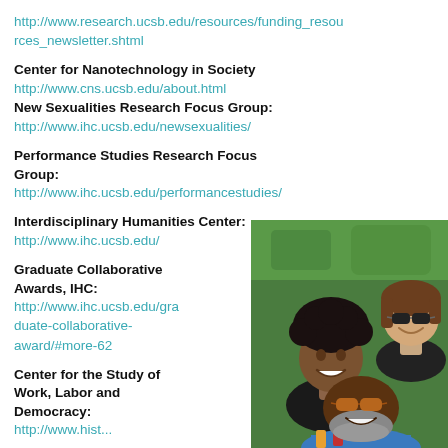http://www.research.ucsb.edu/resources/funding_resources_newsletter.shtml
Center for Nanotechnology in Society
http://www.cns.ucsb.edu/about.html
New Sexualities Research Focus Group:
http://www.ihc.ucsb.edu/newsexualities/
Performance Studies Research Focus Group:
http://www.ihc.ucsb.edu/performancestudies/
Interdisciplinary Humanities Center:
http://www.ihc.ucsb.edu/
Graduate Collaborative Awards, IHC:
http://www.ihc.ucsb.edu/graduate-collaborative-award/#more-62
Center for the Study of Work, Labor and Democracy:
http://www.hist...
[Figure (photo): Three people lying on grass taking a selfie from above. Two women and one man, all smiling, outdoors on green lawn.]